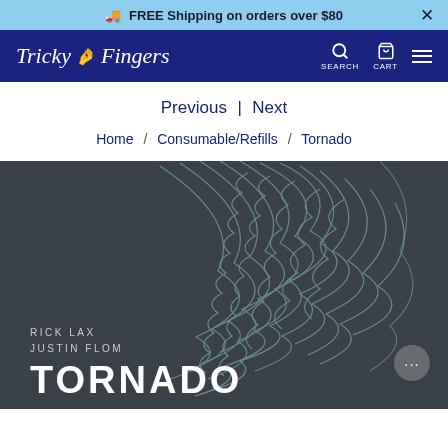FREE Shipping on orders over $80
Tricky Fingers — SEARCH CART
Previous | Next
Home / Consumable/Refills / Tornado
[Figure (illustration): Product image for 'Tornado' by Rick Lax and Justin Flom. Dark gray background with a swirling tornado outline illustration in light blue/white lines. Text overlay reads: RICK LAX / JUSTIN FLOM / TORNADO]